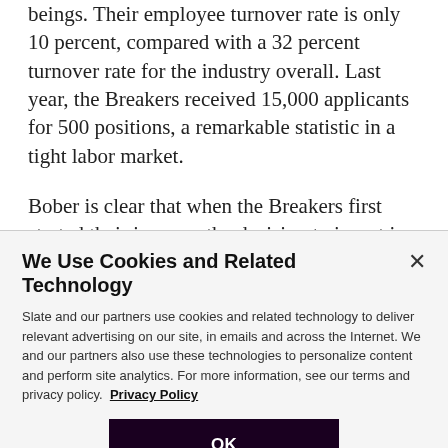beings. Their employee turnover rate is only 10 percent, compared with a 32 percent turnover rate for the industry overall. Last year, the Breakers received 15,000 applicants for 500 positions, a remarkable statistic in a tight labor market.
Bober is clear that when the Breakers first started their journey, the decision to invest in employee health and well-being was not about making a return on
We Use Cookies and Related Technology
Slate and our partners use cookies and related technology to deliver relevant advertising on our site, in emails and across the Internet. We and our partners also use these technologies to personalize content and perform site analytics. For more information, see our terms and privacy policy. Privacy Policy